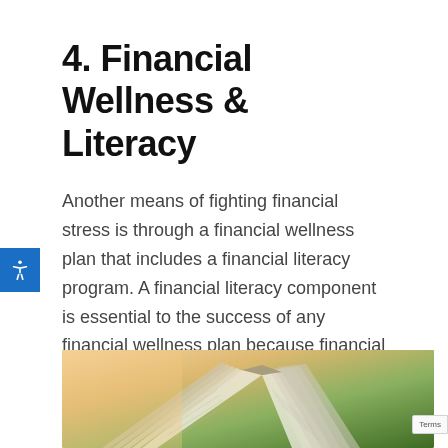4. Financial Wellness & Literacy
Another means of fighting financial stress is through a financial wellness plan that includes a financial literacy program. A financial literacy component is essential to the success of any financial wellness plan because financial literacy has a real impact on the lives of your staff.
[Figure (photo): An open book with pages fanning, photographed against a blurred green and warm-toned background]